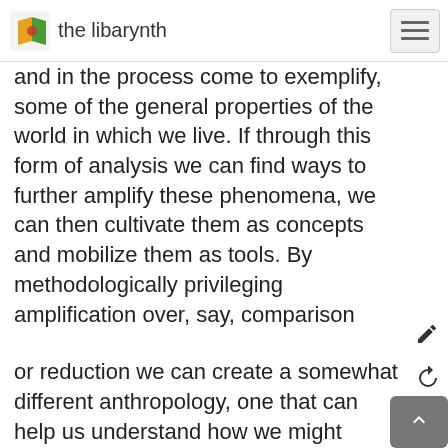the libarynth
and in the process come to exemplify, some of the general properties of the world in which we live. If through this form of analysis we can find ways to further amplify these phenomena, we can then cultivate them as concepts and mobilize them as tools. By methodologically privileging amplification over, say, comparison
or reduction we can create a somewhat different anthropology, one that can help us understand how we might better live in a world we share with other kinds of lives.
This emphasis on defamiliarization—coming to see the strange as familiar so that the familiar appears strange—calls to mind a long anthropological tradition that focuses on how an appreciation for context